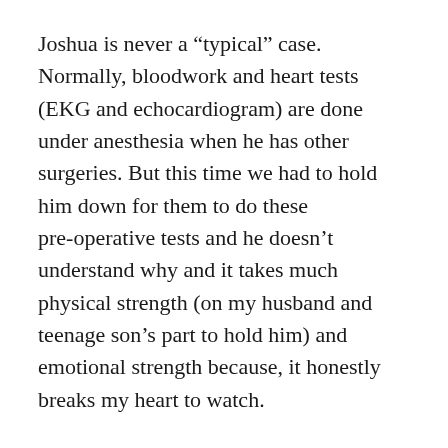Joshua is never a “typical” case.  Normally, bloodwork and heart tests (EKG and echocardiogram) are done under anesthesia when he has other surgeries. But this time we had to hold him down for them to do these pre-operative tests and he doesn’t understand why and it takes much physical strength (on my husband and teenage son’s part to hold him) and emotional strength because, it honestly breaks my heart to watch.
Surgeries are not new for Joshua. In addition to the  endoscopies, he has numerous dental procedures done under anesthesia, ear tubes, tonsils out, adenoids removed, hearing test (he needs sedation to do that type of hearing…)